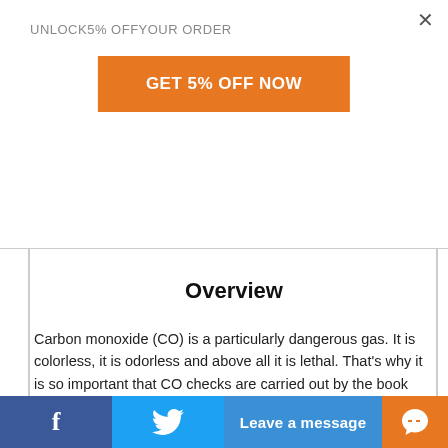UNLOCK5% OFFYOUR ORDER
GET 5% OFF NOW
free operation
Easy to read backlit display
Measuring range 0 to +1999 ppm
Overview
Carbon monoxide (CO) is a particularly dangerous gas. It is colorless, it is odorless and above all it is lethal. That's why it is so important that CO checks are carried out by the book when a gas
f  [twitter bird]  Leave a message  [chat icon]